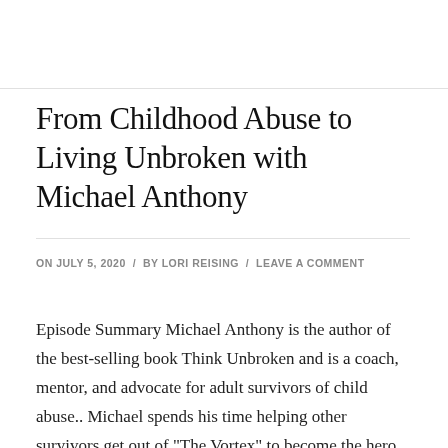From Childhood Abuse to Living Unbroken with Michael Anthony
ON JULY 5, 2020 / BY LORI REISING / LEAVE A COMMENT
Episode Summary Michael Anthony is the author of the best-selling book Think Unbroken and is a coach, mentor, and advocate for adult survivors of child abuse.. Michael spends his time helping other survivors get out of "The Vortex" to become the hero of their own story and take